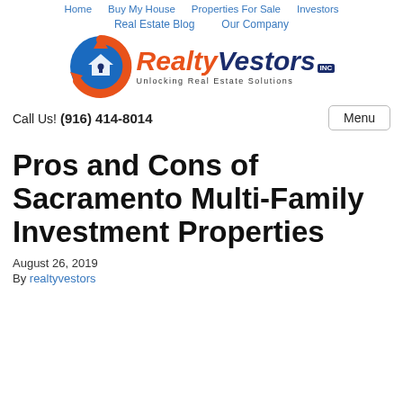Home · Buy My House · Properties For Sale · Investors · Real Estate Blog · Our Company
[Figure (logo): RealtyVestors Inc logo — orange arrow circular icon with house silhouette, orange italic 'Realty' and dark blue italic 'Vestors' with INC badge, tagline 'Unlocking Real Estate Solutions']
Call Us! (916) 414-8014
Pros and Cons of Sacramento Multi-Family Investment Properties
August 26, 2019
By realtyvestors